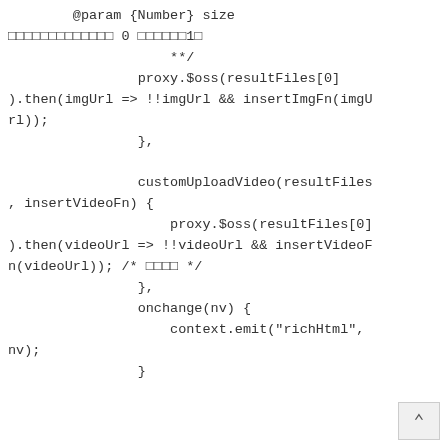@param {Number} size
□□□□□□□□□□□□□ 0 □□□□□□1□
**/
            proxy.$oss(resultFiles[0]).then(imgUrl => !!imgUrl && insertImgFn(imgUrl));
            },

            customUploadVideo(resultFiles, insertVideoFn) {
                proxy.$oss(resultFiles[0]).then(videoUrl => !!videoUrl && insertVideoFn(videoUrl)); /* □□□□ */
            },
            onchange(nv) {
                context.emit("richHtml", nv);
            }